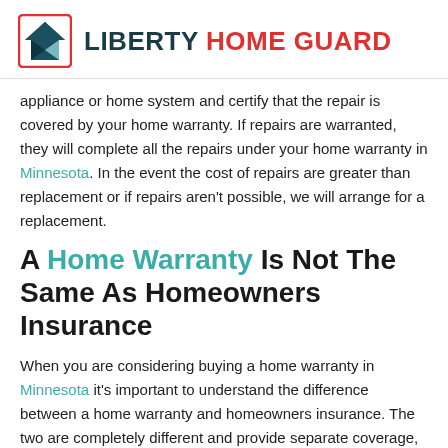LIBERTY HOME GUARD
appliance or home system and certify that the repair is covered by your home warranty. If repairs are warranted, they will complete all the repairs under your home warranty in Minnesota. In the event the cost of repairs are greater than replacement or if repairs aren't possible, we will arrange for a replacement.
A Home Warranty Is Not The Same As Homeowners Insurance
When you are considering buying a home warranty in Minnesota it's important to understand the difference between a home warranty and homeowners insurance. The two are completely different and provide separate coverage, but together can provide more complete coverage, no matter what happens to your home